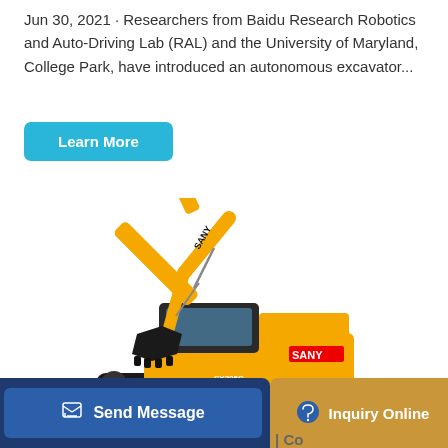Jun 30, 2021 · Researchers from Baidu Research Robotics and Auto-Driving Lab (RAL) and the University of Maryland, College Park, have introduced an autonomous excavator...
[Figure (other): A blue rounded rectangle button labeled 'Learn More']
[Figure (photo): A SANY SY205C yellow hydraulic excavator on a white background, with its arm raised and bucket visible.]
[Figure (other): Bottom navigation bar with a blue 'Send Message' button with a form/edit icon on the left, and a gold/tan 'Inquiry Online' button with a headset icon on the right. Partial text visible at bottom: '| Co...']